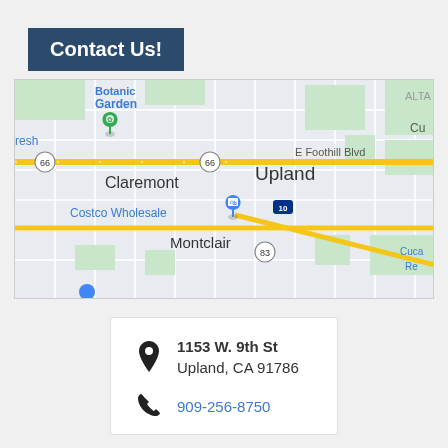Contact Us!
[Figure (map): Google Maps screenshot showing Claremont, Upland, Montclair area with Route 66, I-10, and local landmarks including Botanic Garden, Costco Wholesale, E Foothill Blvd. Green location pin near Botanic Garden area, blue shopping pin near Costco.]
1153 W. 9th St
Upland, CA 91786
909-256-8750